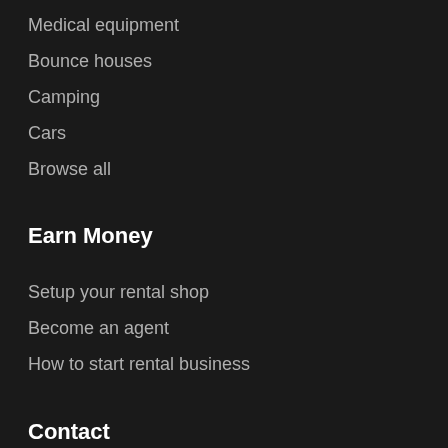Medical equipment
Bounce houses
Camping
Cars
Browse all
Earn Money
Setup your rental shop
Become an agent
How to start rental business
Contact
Message us